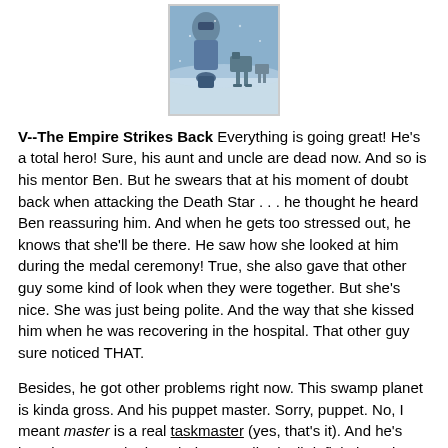[Figure (photo): Movie poster or cover art for The Empire Strikes Back, showing sci-fi winter battle scene with armored figures and AT-AT walkers in a blue-tinted icy environment.]
V--The Empire Strikes Back Everything is going great! He's a total hero! Sure, his aunt and uncle are dead now. And so is his mentor Ben. But he swears that at his moment of doubt back when attacking the Death Star . . . he thought he heard Ben reassuring him. And when he gets too stressed out, he knows that she'll be there. He saw how she looked at him during the medal ceremony! True, she also gave that other guy some kind of look when they were together. But she's nice. She was just being polite. And the way that she kissed him when he was recovering in the hospital. That other guy sure noticed THAT.
Besides, he got other problems right now. This swamp planet is kinda gross. And his puppet master. Sorry, puppet. No, I meant master is a real taskmaster (yes, that's it). And he's learning so much about being a Jedi. She'll definitely notice the difference when he gets back to her. And nothing is more seductive than being a hero! Now if only he'd quit having